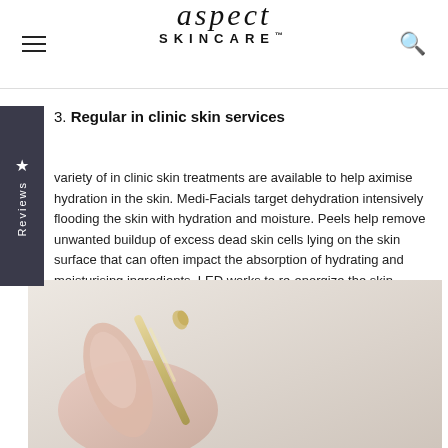aspect SKINCARE
3. Regular in clinic skin services
A variety of in clinic skin treatments are available to help maximise hydration in the skin. Medi-Facials target dehydration intensively flooding the skin with hydration and moisture. Peels help remove unwanted buildup of excess dead skin cells lying on the skin surface that can often impact the absorption of hydrating and moisturising ingredients. LED works to re-energize the skin.
[Figure (photo): Close-up photo of a gloved hand holding a gold/metallic skincare tool or device against a light beige background.]